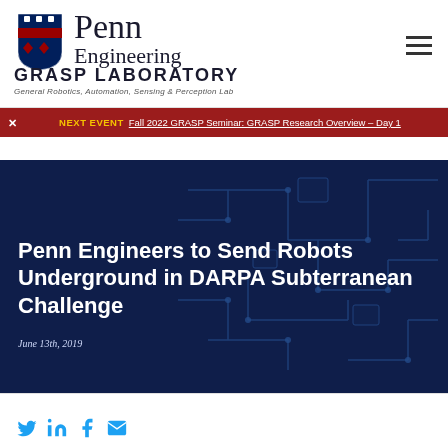[Figure (logo): Penn Engineering GRASP Laboratory logo with University of Pennsylvania shield, wordmark 'Penn Engineering' and 'GRASP LABORATORY - General Robotics, Automation, Sensing & Perception Lab']
NEXT EVENT Fall 2022 GRASP Seminar: GRASP Research Overview – Day 1
Penn Engineers to Send Robots Underground in DARPA Subterranean Challenge
June 13th, 2019
[Figure (illustration): Social media share icons: Twitter (bird), LinkedIn (in), Facebook (f), Email (envelope)]